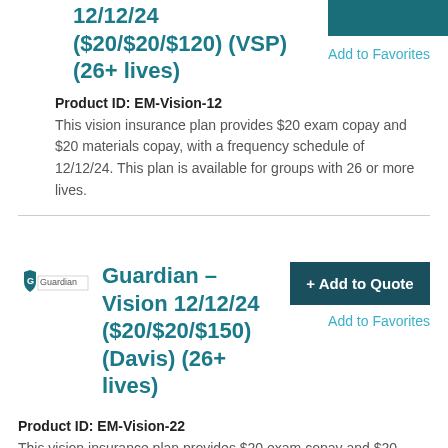12/12/24 ($20/$20/$120) (VSP) (26+ lives)
Add to Favorites
Product ID: EM-Vision-12
This vision insurance plan provides $20 exam copay and $20 materials copay, with a frequency schedule of 12/12/24. This plan is available for groups with 26 or more lives.
[Figure (logo): Guardian insurance company logo]
Guardian – Vision 12/12/24 ($20/$20/$150) (Davis) (26+ lives)
+ Add to Quote
Add to Favorites
Product ID: EM-Vision-22
This vision insurance plan provides $20 exam copay and $20 materials copay with a